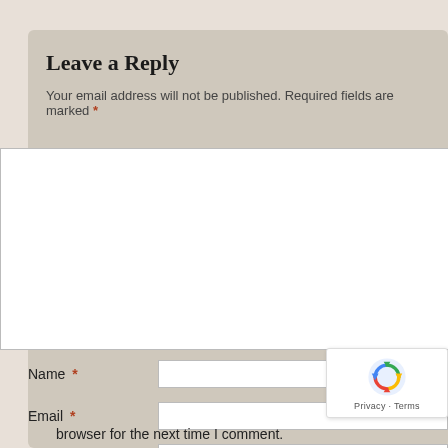Leave a Reply
Your email address will not be published. Required fields are marked *
[Figure (screenshot): Comment text area input box (white rectangle)]
Name *
[Figure (screenshot): Name input field]
Email *
[Figure (screenshot): Email input field]
Website
[Figure (screenshot): Website input field]
Save my name, email, and website in this browser for the next time I comment.
[Figure (logo): reCAPTCHA badge with Privacy and Terms text]